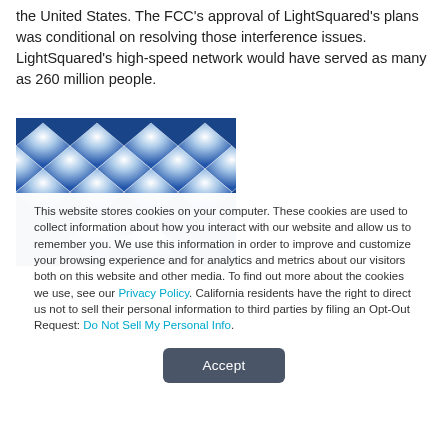the United States. The FCC's approval of LightSquared's plans was conditional on resolving those interference issues. LightSquared's high-speed network would have served as many as 260 million people.
[Figure (photo): Partial view of a logo or graphic featuring blue diamond/cube shapes with white highlights arranged in a grid pattern, partially obscured by the cookie consent overlay.]
This website stores cookies on your computer. These cookies are used to collect information about how you interact with our website and allow us to remember you. We use this information in order to improve and customize your browsing experience and for analytics and metrics about our visitors both on this website and other media. To find out more about the cookies we use, see our Privacy Policy. California residents have the right to direct us not to sell their personal information to third parties by filing an Opt-Out Request: Do Not Sell My Personal Info.